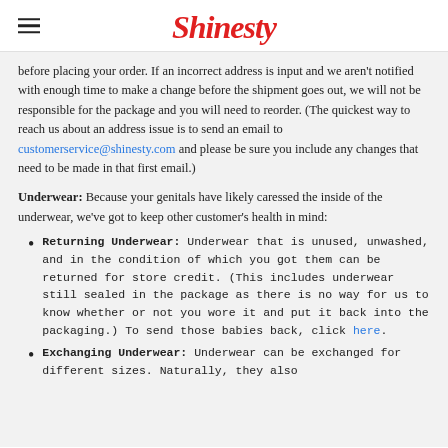Shinesty
before placing your order. If an incorrect address is input and we aren't notified with enough time to make a change before the shipment goes out, we will not be responsible for the package and you will need to reorder. (The quickest way to reach us about an address issue is to send an email to customerservice@shinesty.com and please be sure you include any changes that need to be made in that first email.)
Underwear: Because your genitals have likely caressed the inside of the underwear, we've got to keep other customer's health in mind:
Returning Underwear: Underwear that is unused, unwashed, and in the condition of which you got them can be returned for store credit. (This includes underwear still sealed in the package as there is no way for us to know whether or not you wore it and put it back into the packaging.) To send those babies back, click here.
Exchanging Underwear: Underwear can be exchanged for different sizes. Naturally, they also